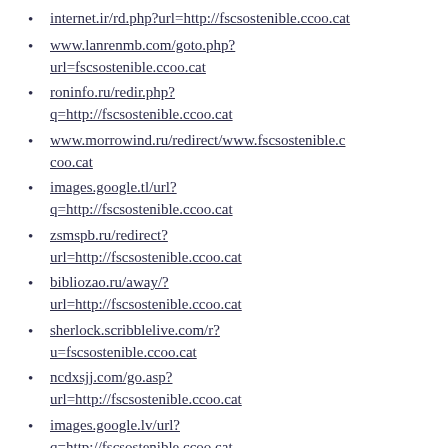internet.ir/rd.php?url=http://fscsostenible.ccoo.cat
www.lanrenmb.com/goto.php?url=fscsostenible.ccoo.cat
roninfo.ru/redir.php?q=http://fscsostenible.ccoo.cat
www.morrowind.ru/redirect/www.fscsostenible.ccoo.cat
images.google.tl/url?q=http://fscsostenible.ccoo.cat
zsmspb.ru/redirect?url=http://fscsostenible.ccoo.cat
bibliozao.ru/away/?url=http://fscsostenible.ccoo.cat
sherlock.scribblelive.com/r?u=fscsostenible.ccoo.cat
ncdxsjj.com/go.asp?url=http://fscsostenible.ccoo.cat
images.google.lv/url?q=http://fscsostenible.ccoo.cat